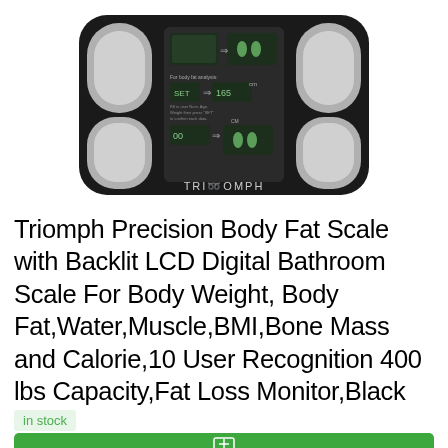[Figure (photo): Black Triomph body fat scale with backlit LCD display showing foot icons and measurement data, with silver foot pad sensors on corners, viewed from above]
Triomph Precision Body Fat Scale with Backlit LCD Digital Bathroom Scale For Body Weight, Body Fat,Water,Muscle,BMI,Bone Mass and Calorie,10 User Recognition 400 lbs Capacity,Fat Loss Monitor,Black
in stock